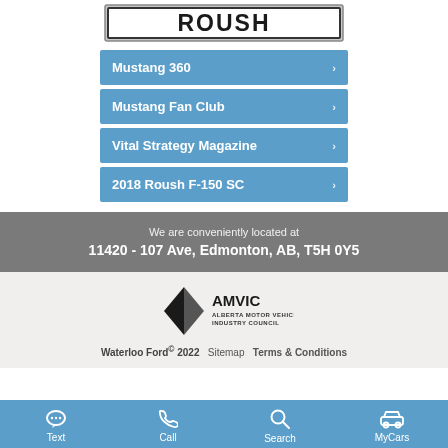[Figure (logo): ROUSH logo — bold black text on white with dark border]
Mustang 360 >
Mustang Fan Club >
Vital Strategy Magazine >
2018 Roush F-150 SC >
We are conveniently located at
11420 - 107 Ave, Edmonton, AB, T5H 0Y5
[Figure (logo): AMVIC Alberta Motor Vehicle Industry Council logo]
Waterloo Ford© 2022   Sitemap   Terms & Conditions
Text   Call   Search   MyCars